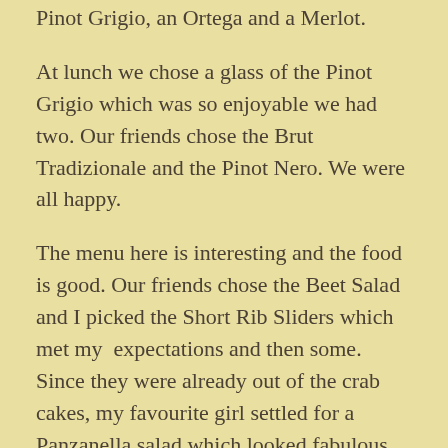Pinot Grigio, an Ortega and a Merlot.
At lunch we chose a glass of the Pinot Grigio which was so enjoyable we had two. Our friends chose the Brut Tradizionale and the Pinot Nero. We were all happy.
The menu here is interesting and the food is good. Our friends chose the Beet Salad and I picked the Short Rib Sliders which met my  expectations and then some. Since they were already out of the crab cakes, my favourite girl settled for a Panzanella salad which looked fabulous and she claimed was delicious. For dessert we shared The Lavender Cheesecake. It is not to be missed.
The chef at Vinoteca is Fatima Da Silva. She has been here for several years and clearly knows her stuff. Interestingly, she is originally from Mozambique. Her